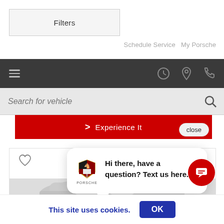[Figure (screenshot): Filters button bar - a rectangular button labeled Filters on white/light gray background]
Schedule Service  My Porsche
[Figure (screenshot): Dark navigation bar with hamburger menu icon on left, and clock, location pin, and phone icons on right]
[Figure (screenshot): Search bar with placeholder text 'Search for vehicle' and magnifying glass icon on right]
[Figure (screenshot): Red banner with right-angle chevron and 'Experience It' text, with close button]
[Figure (screenshot): Car listing card showing heart/favorite icon and partial view of a white Porsche car]
[Figure (screenshot): Chat popup bubble with Porsche logo and text 'Hi there, have a question? Text us here.']
[Figure (screenshot): Red circular chat button with message icon]
This site uses cookies.
[Figure (screenshot): OK button for cookie consent]